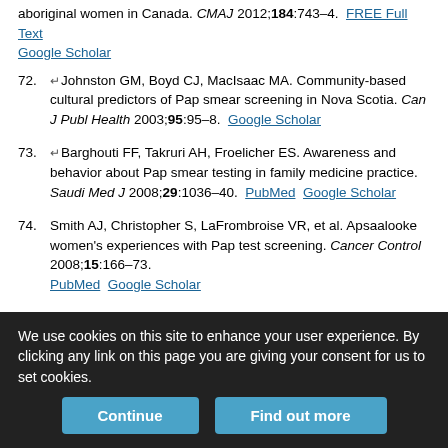aboriginal women in Canada. CMAJ 2012;184:743–4. FREE Full Text Google Scholar
72. Johnston GM, Boyd CJ, MacIsaac MA. Community-based cultural predictors of Pap smear screening in Nova Scotia. Can J Publ Health 2003;95:95–8. Google Scholar
73. Barghouti FF, Takruri AH, Froelicher ES. Awareness and behavior about Pap smear testing in family medicine practice. Saudi Med J 2008;29:1036–40. PubMed Google Scholar
74. Smith AJ, Christopher S, LaFrombroise VR, et al. Apsaalooke women's experiences with Pap test screening. Cancer Control 2008;15:166–73. PubMed Google Scholar
75. Johnson CE, Mues KE, Mayne SL, et al. Cervical cancer screening among immigrants and ethnic minorities: a systematic review using the health belief model.
We use cookies on this site to enhance your user experience. By clicking any link on this page you are giving your consent for us to set cookies.